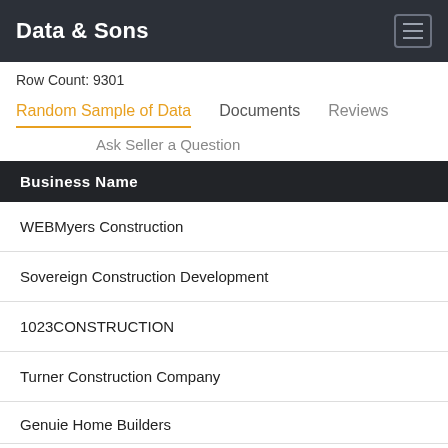Data & Sons
Row Count: 9301
Random Sample of Data   Documents   Reviews   Ask Seller a Question
| Business Name |
| --- |
| WEBMyers Construction |
| Sovereign Construction Development |
| 1023CONSTRUCTION |
| Turner Construction Company |
| Genuie Home Builders |